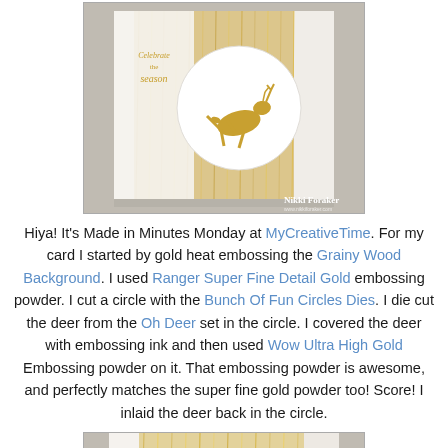[Figure (photo): A handmade greeting card with gold heat embossed Grainy Wood Background, featuring a white circle with a gold leaping deer, and text 'Celebrate the season'. Watermark reads 'Nikki Foraker'.]
Hiya! It's Made in Minutes Monday at MyCreativeTime. For my card I started by gold heat embossing the Grainy Wood Background. I used Ranger Super Fine Detail Gold embossing powder. I cut a circle with the Bunch Of Fun Circles Dies. I die cut the deer from the Oh Deer set in the circle. I covered the deer with embossing ink and then used Wow Ultra High Gold Embossing powder on it. That embossing powder is awesome, and perfectly matches the super fine gold powder too! Score! I inlaid the deer back in the circle.
[Figure (photo): A partially visible handmade card showing gold embossed wood grain background texture, cropped at the bottom of the page.]